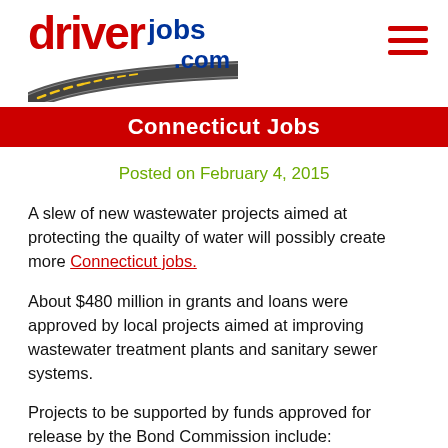driverjobs.com
Connecticut Jobs
Posted on February 4, 2015
A slew of new wastewater projects aimed at protecting the quailty of water will possibly create more Connecticut jobs.
About $480 million in grants and loans were approved by local projects aimed at improving wastewater treatment plants and sanitary sewer systems.
Projects to be supported by funds approved for release by the Bond Commission include:
The Metropolitan District Commission (MDC)'s Clean Water Project: $258 million for the next phase of a 20-year investment in modernizing the sanitary sewer system in the Greater Hartford area. This includes separating out the flow of storm water from sanitary sewers in order to reduce overflows of raw sewage from the sewer system and into the Connecticut River. The package